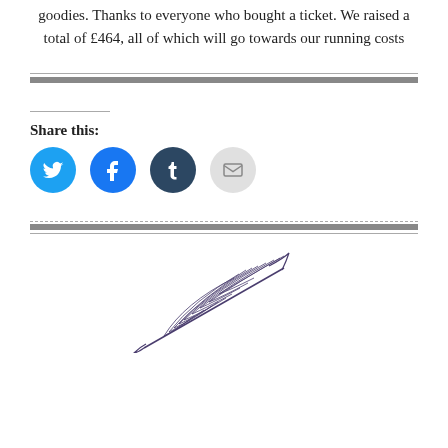goodies. Thanks to everyone who bought a ticket. We raised a total of £464, all of which will go towards our running costs
[Figure (infographic): Share this section with Twitter, Facebook, Tumblr, and Email icon buttons]
[Figure (illustration): A hand-drawn feather quill illustration in purple/dark blue ink, centered at bottom of page]